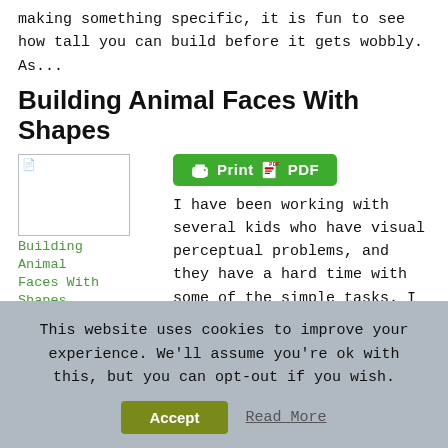making something specific, it is fun to see how tall you can build before it gets wobbly. As...
Building Animal Faces With Shapes
[Figure (screenshot): Thumbnail image placeholder for 'Building Animal Faces With Shapes' article with green text label]
[Figure (screenshot): Green Print PDF button with printer and PDF icons]
I have been working with several kids who have visual perceptual problems, and they have a hard time with some of the simple tasks. I am working on getting back to basics with them so that we can build on it. I wanted to have them put together shapes to make objects, and I made...
Building with Toothpicks and Gumdrops
[Figure (screenshot): Thumbnail and Print button partially visible for second article]
This website uses cookies to improve your experience. We'll assume you're ok with this, but you can opt-out if you wish.
Accept   Read More